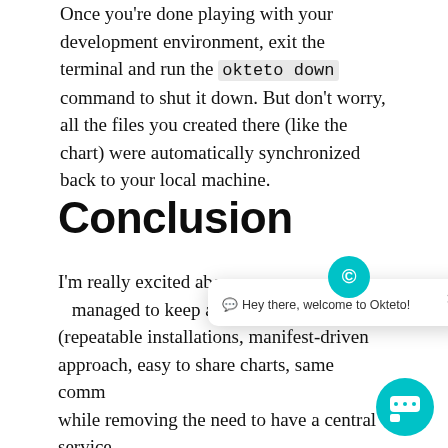Once you're done playing with your development environment, exit the terminal and run the okteto down command to shut it down. But don't worry, all the files you created there (like the chart) were automatically synchronized back to your local machine.
Conclusion
I'm really excited abo[ut the direction Helm 3 has] managed to keep all t[he good things about Helm] (repeatable installations, manifest-driven approach, easy to share charts, same comm[and] while removing the need to have a central service to keep all the state (buh bye Tiller !). I'm
[Figure (screenshot): Chat widget popup overlay showing the Okteto logo avatar and a welcome message tooltip that says 'Hey there, welcome to Okteto!' with a close button (×), plus a teal circular chat FAB button in the bottom right corner.]